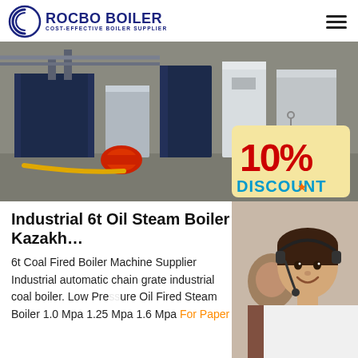ROCBO BOILER — COST-EFFECTIVE BOILER SUPPLIER
[Figure (photo): Industrial boilers in a factory setting with a '10% DISCOUNT' promotional tag overlaid on the right side.]
Industrial 6t Oil Steam Boiler Kazakh…
[Figure (photo): Customer service representative smiling with headset, with a colleague visible in the background.]
6t Coal Fired Boiler Machine Supplier Industrial automatic chain grate industrial coal boiler. Low Pressure Oil Fired Steam Boiler 1.0 Mpa 1.25 Mpa 1.6 Mpa For Paper